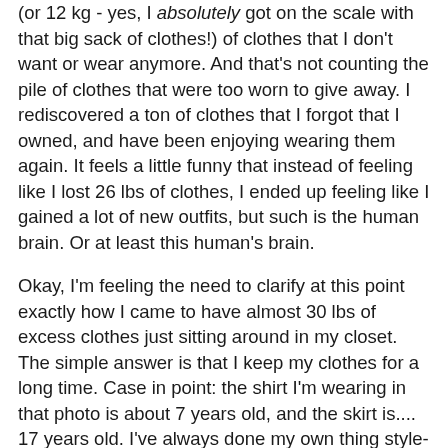(or 12 kg - yes, I absolutely got on the scale with that big sack of clothes!) of clothes that I don't want or wear anymore. And that's not counting the pile of clothes that were too worn to give away. I rediscovered a ton of clothes that I forgot that I owned, and have been enjoying wearing them again. It feels a little funny that instead of feeling like I lost 26 lbs of clothes, I ended up feeling like I gained a lot of new outfits, but such is the human brain. Or at least this human's brain.
Okay, I'm feeling the need to clarify at this point exactly how I came to have almost 30 lbs of excess clothes just sitting around in my closet. The simple answer is that I keep my clothes for a long time. Case in point: the shirt I'm wearing in that photo is about 7 years old, and the skirt is.... 17 years old. I've always done my own thing style-wise, so my clothes are never really out of style, because they were never actually in style in the first place. So clothes get a much longer shelf life when the only thing you're worrying about is if they are whole, clean and still fit. But it does also mean that things have a tendency to pile up in your closet. Or my closet, as the case may be. The other part of the equation, of